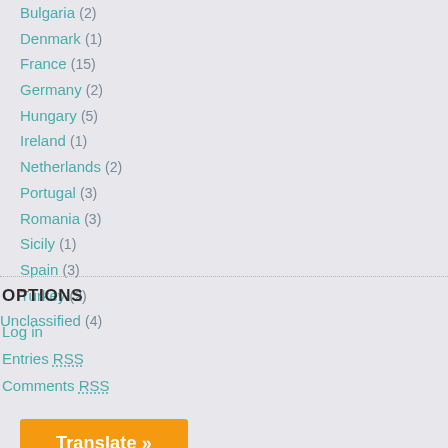Bulgaria (2)
Denmark (1)
France (15)
Germany (2)
Hungary (5)
Ireland (1)
Netherlands (2)
Portugal (3)
Romania (3)
Sicily (1)
Spain (3)
Turkey (2)
Unclassified (4)
OPTIONS
Log in
Entries RSS
Comments RSS
[Figure (other): Orange 'Translate »' button]